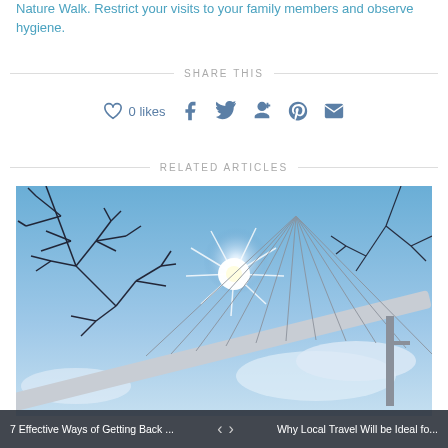Nature Walk. Restrict your visits to your family members and observe hygiene.
SHARE THIS
0 likes  [heart icon] [facebook] [twitter] [google+] [pinterest] [email]
RELATED ARTICLES
[Figure (photo): Looking up at a suspension bridge with bare tree branches in the foreground and a bright sun shining, blue sky and clouds in background]
7 Effective Ways of Getting Back ...   <   >   Why Local Travel Will be Ideal fo...